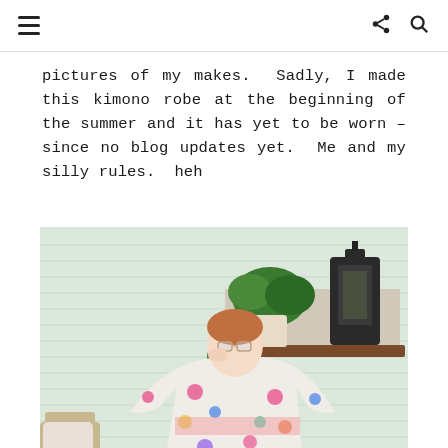≡  < 🔍
pictures of my makes.  Sadly, I made this kimono robe at the beginning of the summer and it has yet to be worn – since no blog updates yet.  Me and my silly rules.  heh
[Figure (photo): A woman wearing a white floral kimono robe standing on a porch with plants and a black lantern in the background.]